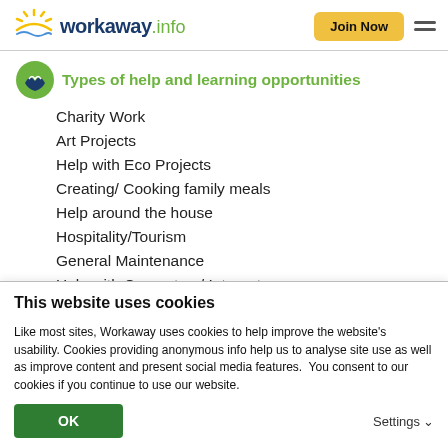workaway.info — Join Now
Types of help and learning opportunities
Charity Work
Art Projects
Help with Eco Projects
Creating/ Cooking family meals
Help around the house
Hospitality/Tourism
General Maintenance
Help with Computers/ Internet
This website uses cookies
Like most sites, Workaway uses cookies to help improve the website's usability. Cookies providing anonymous info help us to analyse site use as well as improve content and present social media features.  You consent to our cookies if you continue to use our website.
OK
Settings